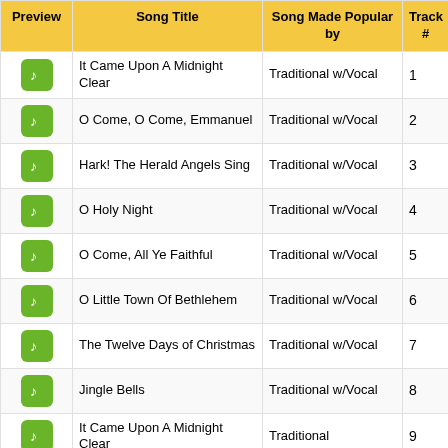| Preview | Song Title | Song Made Popular by | Track # |
| --- | --- | --- | --- |
| [music icon] | It Came Upon A Midnight Clear | Traditional w/Vocal | 1 |
| [music icon] | O Come, O Come, Emmanuel | Traditional w/Vocal | 2 |
| [music icon] | Hark! The Herald Angels Sing | Traditional w/Vocal | 3 |
| [music icon] | O Holy Night | Traditional w/Vocal | 4 |
| [music icon] | O Come, All Ye Faithful | Traditional w/Vocal | 5 |
| [music icon] | O Little Town Of Bethlehem | Traditional w/Vocal | 6 |
| [music icon] | The Twelve Days of Christmas | Traditional w/Vocal | 7 |
| [music icon] | Jingle Bells | Traditional w/Vocal | 8 |
| [music icon] | It Came Upon A Midnight Clear | Traditional | 9 |
| [music icon] | O Come, O Come, Emmanuel | Traditional | 10 |
| [music icon] | Hark! The Herald Angels... | Traditional | 11 |